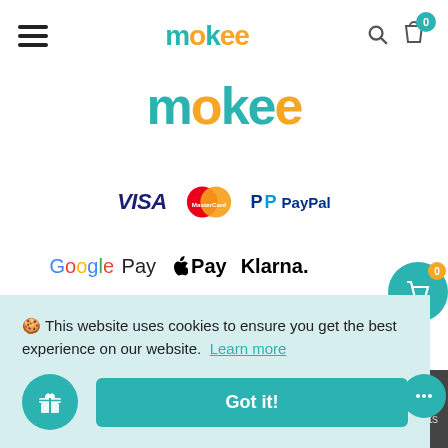[Figure (screenshot): Mokee e-commerce website screenshot showing navigation header with hamburger menu, mokee logo, search and cart icons, main logo, payment method logos (Visa, MasterCard, PayPal, Google Pay, Apple Pay, Klarna), social media icons, a cookie consent banner, and floating cart button.]